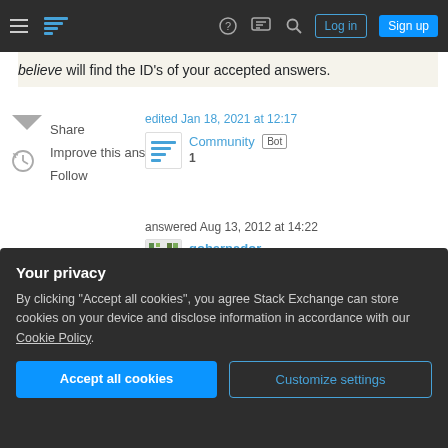Stack Exchange navigation bar with hamburger menu, logo, help, chat, search icons, Log in and Sign up buttons
believe will find the ID's of your accepted answers.
Share
Improve this answer
Follow
edited Jan 18, 2021 at 12:17
Community Bot
1
answered Aug 13, 2012 at 14:22
gobernador
2,579 ● 17 ● 18
1  Only problem is that the data there is not live.
– Shadow The Kid Wizard  Aug 13, 2012 at 14:26
Recycled/Included/Reused  Answer
Your privacy
By clicking "Accept all cookies", you agree Stack Exchange can store cookies on your device and disclose information in accordance with our Cookie Policy.
Accept all cookies
Customize settings